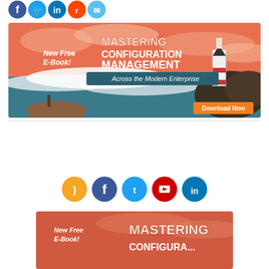[Figure (illustration): Row of social media icons: Facebook, Twitter, LinkedIn, Reddit, Email]
[Figure (illustration): Banner ad: New Free E-Book! Mastering Configuration Management Across the Modern Enterprise. Download Now button. Illustrated with lighthouse, boat, ocean waves on orange background.]
[Figure (illustration): Row of social media icons: RSS, Facebook, Twitter, YouTube, LinkedIn]
[Figure (illustration): Partial banner ad: New Free E-Book! Mastering... on orange/red background, partially cropped at bottom of page.]